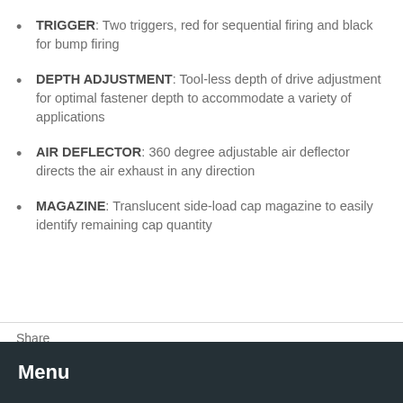TRIGGER: Two triggers, red for sequential firing and black for bump firing
DEPTH ADJUSTMENT: Tool-less depth of drive adjustment for optimal fastener depth to accommodate a variety of applications
AIR DEFLECTOR: 360 degree adjustable air deflector directs the air exhaust in any direction
MAGAZINE: Translucent side-load cap magazine to easily identify remaining cap quantity
Share
[Figure (illustration): Social share icons: Facebook (f), Twitter (bird), Pinterest (P)]
Menu